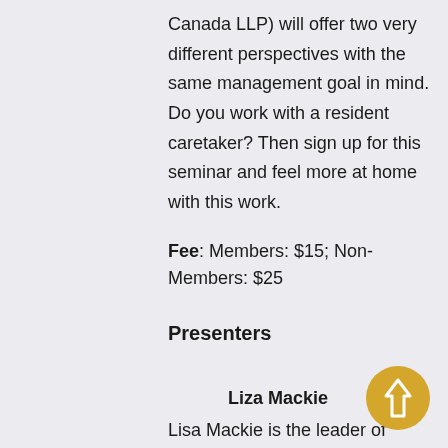Canada LLP) will offer two very different perspectives with the same management goal in mind. Do you work with a resident caretaker? Then sign up for this seminar and feel more at home with this work.
Fee: Members: $15; Non-Members: $25
Presenters
Liza Mackie
Lisa Mackie is the leader of the Strata Property Practice Group and a member of